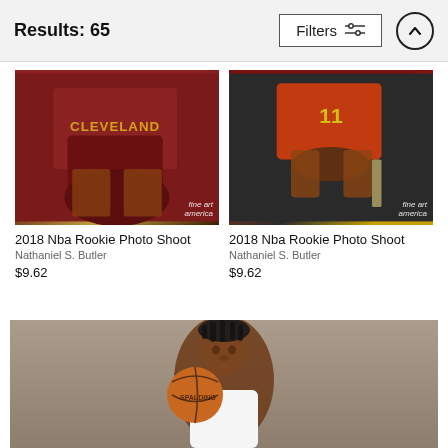Results: 65
Filters
[Figure (photo): NBA player in Cleveland Cavaliers jersey sitting, cropped torso view]
2018 Nba Rookie Photo Shoot
Nathaniel S. Butler
$9.62
[Figure (photo): NBA player in Atlanta Hawks jersey #11 sitting, holding jersey, cropped torso view]
2018 Nba Rookie Photo Shoot
Nathaniel S. Butler
$9.62
[Figure (photo): NBA player with dreadlocks holding a Spalding basketball, wearing a white jersey, against a tan/grey background]